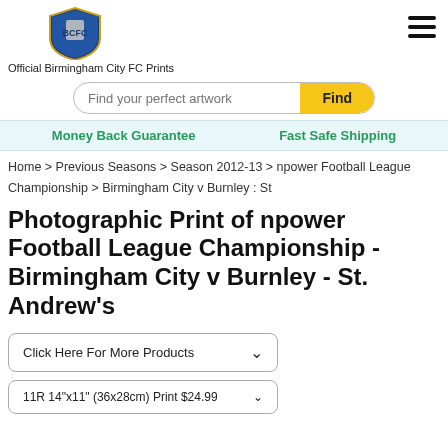Official Birmingham City FC Prints
Find your perfect artwork
Money Back Guarantee   Fast Safe Shipping
Home > Previous Seasons > Season 2012-13 > npower Football League Championship > Birmingham City v Burnley : St
Photographic Print of npower Football League Championship - Birmingham City v Burnley - St. Andrew's
Click Here For More Products
11R 14"x11" (36x28cm) Print $24.99